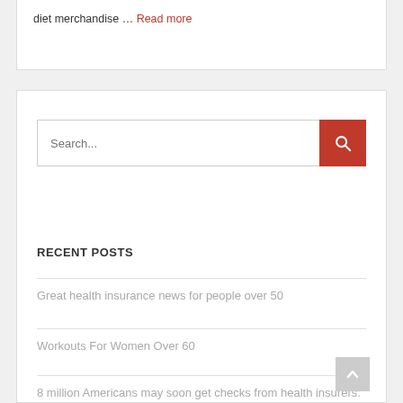diet merchandise … Read more
[Figure (screenshot): Search bar with red search button]
RECENT POSTS
Great health insurance news for people over 50
Workouts For Women Over 60
8 million Americans may soon get checks from health insurers: Here's how much you could get